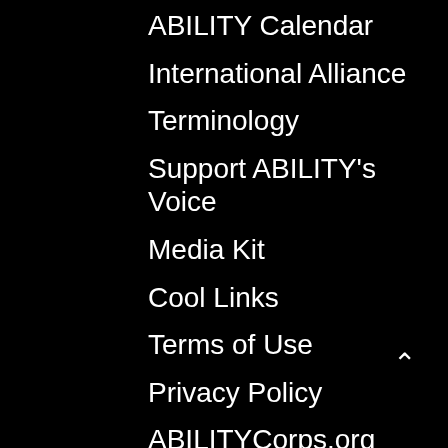ABILITY Calendar
International Alliance
Terminology
Support ABILITY's Voice
Media Kit
Cool Links
Terms of Use
Privacy Policy
ABILITYCorps.org
Education
On the Go – Mobility